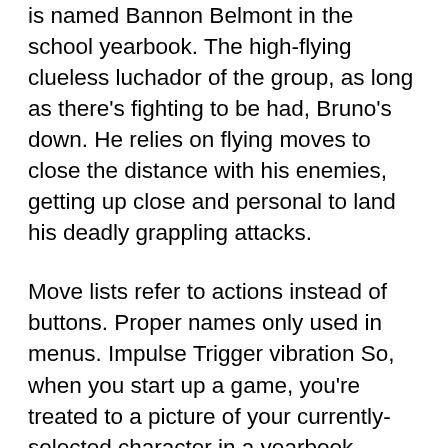is named Bannon Belmont in the school yearbook. The high-flying clueless luchador of the group, as long as there's fighting to be had, Bruno's down. He relies on flying moves to close the distance with his enemies, getting up close and personal to land his deadly grappling attacks.
Move lists refer to actions instead of buttons. Proper names only used in menus. Impulse Trigger vibration So, when you start up a game, you're treated to a picture of your currently-selected character in a yearbook. Beneath each character is that character's name, albeit in illegible gibberish letters. Except they're not